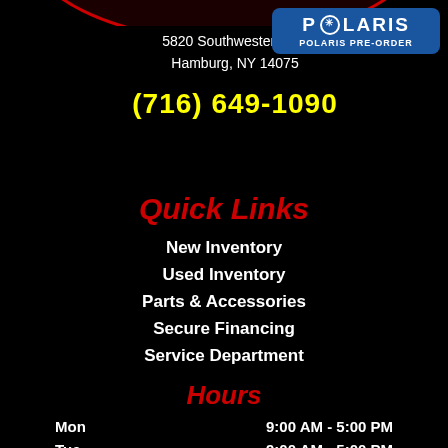[Figure (logo): Polaris Pre-Order badge with Polaris logo and blue rounded rectangle]
5820 Southwestern B...
Hamburg, NY 14075
(716) 649-1090
Quick Links
New Inventory
Used Inventory
Parts & Accessories
Secure Financing
Service Department
Hours
| Day | Hours |
| --- | --- |
| Mon | 9:00 AM - 5:00 PM |
| Tue | 9:00 AM - 5:00 PM |
| Wed | Closed |